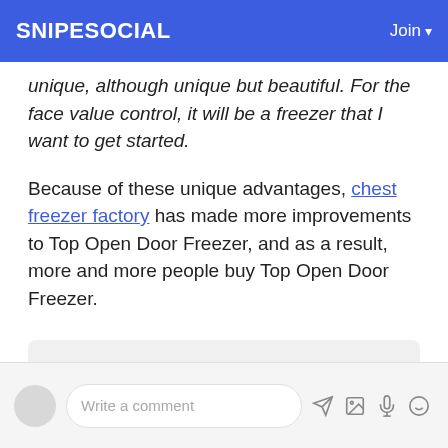SNIPESOCIAL  Join
unique, although unique but beautiful. For the face value control, it will be a freezer that I want to get started.
Because of these unique advantages, chest freezer factory has made more improvements to Top Open Door Freezer, and as a result, more and more people buy Top Open Door Freezer.
TOP_OPEN_DOOR_FREEZER_CHEST_FREEZER_FACTORY